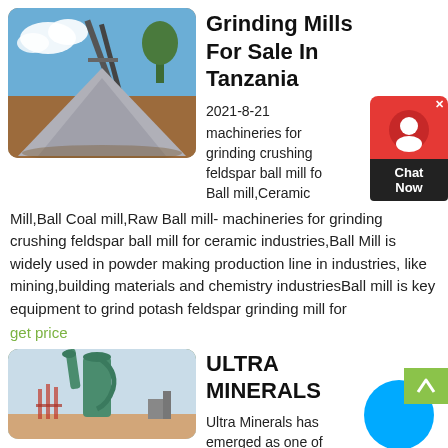[Figure (photo): Industrial aggregate/gravel pile with conveyor belt machinery and blue sky background]
Grinding Mills For Sale In Tanzania
2021-8-21 machineries for grinding crushing feldspar ball mill fo Ball mill,Ceramic Mill,Ball Coal mill,Raw Ball mill- machineries for grinding crushing feldspar ball mill for ceramic industries,Ball Mill is widely used in powder making production line in industries, like mining,building materials and chemistry industriesBall mill is key equipment to grind potash feldspar grinding mill for
get price
[Figure (photo): Industrial grinding mill machinery with green cylindrical equipment and scaffolding]
ULTRA MINERALS
Ultra Minerals has emerged as one of